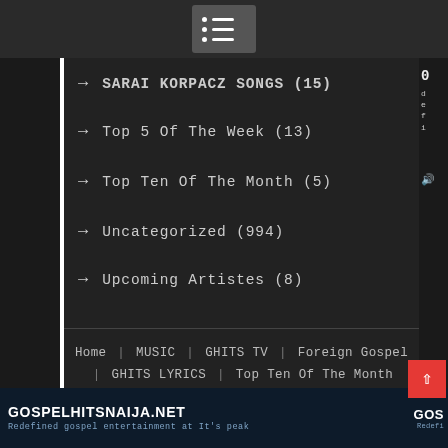[Figure (screenshot): Menu icon button at top center of dark navigation bar]
→ SARAI KORPACZ SONGS (15)
→ Top 5 Of The Week (13)
→ Top Ten Of The Month (5)
→ Uncategorized (994)
→ Upcoming Artistes (8)
Home | MUSIC | GHITS TV | Foreign Gospel | GHITS LYRICS | Top Ten Of The Month | About Us | CONTACT US
GospelHitsNaija.net Media © 2022 - All rights reserved Magazine Point by Axle Themes
GOSPELHITSNAIJA.NET Redefined gospel entertainment at It's peak